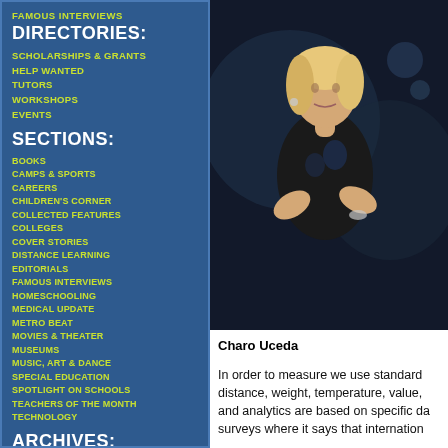FAMOUS INTERVIEWS
DIRECTORIES:
SCHOLARSHIPS & GRANTS
HELP WANTED
TUTORS
WORKSHOPS
EVENTS
SECTIONS:
BOOKS
CAMPS & SPORTS
CAREERS
CHILDREN'S CORNER
COLLECTED FEATURES
COLLEGES
COVER STORIES
DISTANCE LEARNING
EDITORIALS
FAMOUS INTERVIEWS
HOMESCHOOLING
MEDICAL UPDATE
METRO BEAT
MOVIES & THEATER
MUSEUMS
MUSIC, ART & DANCE
SPECIAL EDUCATION
SPOTLIGHT ON SCHOOLS
TEACHERS OF THE MONTH
TECHNOLOGY
ARCHIVES:
2014
2013
[Figure (photo): Photo of Charo Uceda, a blonde woman in a black outfit with arms crossed, dark blurred background]
Charo Uceda
In order to measure we use standard distance, weight, temperature, value, and analytics are based on specific da surveys where it says that internation